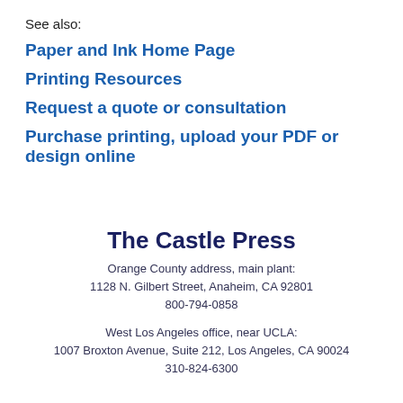See also:
Paper and Ink Home Page
Printing Resources
Request a quote or consultation
Purchase printing, upload your PDF or design online
The Castle Press
Orange County address, main plant:
1128 N. Gilbert Street, Anaheim, CA 92801
800-794-0858
West Los Angeles office, near UCLA:
1007 Broxton Avenue, Suite 212, Los Angeles, CA 90024
310-824-6300